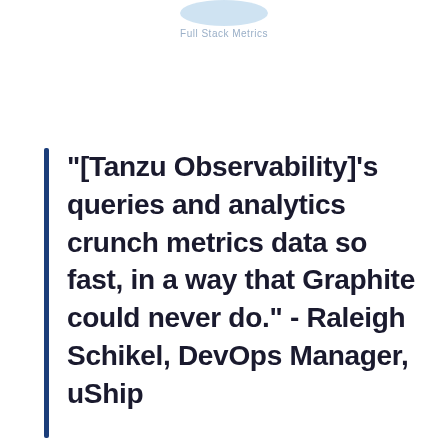Full Stack Metrics
"[Tanzu Observability]'s queries and analytics crunch metrics data so fast, in a way that Graphite could never do." - Raleigh Schikel, DevOps Manager, uShip